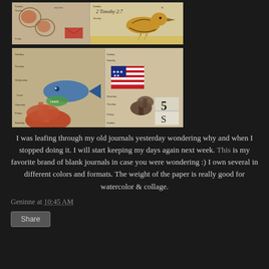[Figure (photo): Top journal spread showing handwritten pages with a bird illustration, diary entries, and decorative elements on aged paper background]
[Figure (photo): Bottom journal spread showing handwritten pages with collage elements including fish, mushrooms, an American flag, and a number block showing 5]
I was leafing through my old journals yesterday wondering why and when I stopped doing it. I will start keeping my days again next week. This is my favorite brand of blank journals in case you were wondering :) I own several in different colors and formats. The weight of the paper is really good for watercolor & collage.
Geninne at 10:45 AM
Share